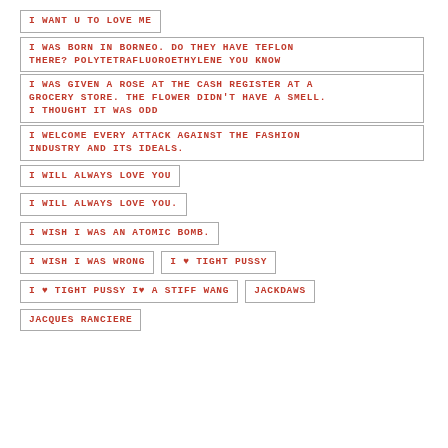I WANT U TO LOVE ME
I WAS BORN IN BORNEO. DO THEY HAVE TEFLON THERE? POLYTETRAFLUOROETHYLENE YOU KNOW
I WAS GIVEN A ROSE AT THE CASH REGISTER AT A GROCERY STORE. THE FLOWER DIDN'T HAVE A SMELL. I THOUGHT IT WAS ODD
I WELCOME EVERY ATTACK AGAINST THE FASHION INDUSTRY AND ITS IDEALS.
I WILL ALWAYS LOVE YOU
I WILL ALWAYS LOVE YOU.
I WISH I WAS AN ATOMIC BOMB.
I WISH I WAS WRONG
I ♥ TIGHT PUSSY
I ♥ TIGHT PUSSY I♥ A STIFF WANG
JACKDAWS
JACQUES RANCIERE